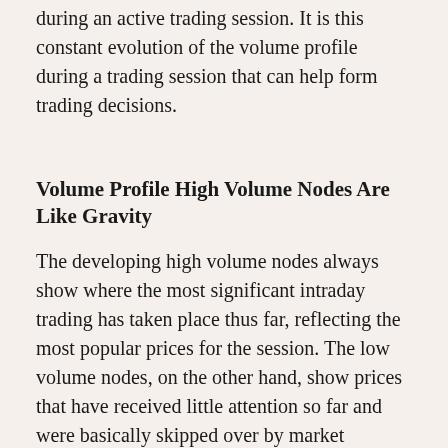patterns that could pinpoint trading opportunities during an active trading session. It is this constant evolution of the volume profile during a trading session that can help form trading decisions.
Volume Profile High Volume Nodes Are Like Gravity
The developing high volume nodes always show where the most significant intraday trading has taken place thus far, reflecting the most popular prices for the session. The low volume nodes, on the other hand, show prices that have received little attention so far and were basically skipped over by market participants.
It may be helpful to think in terms of gravity: the high